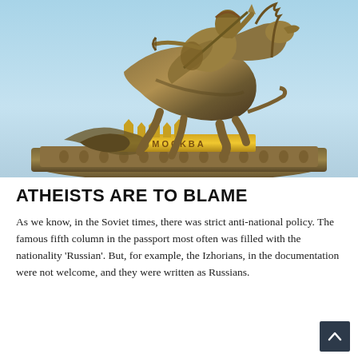[Figure (photo): Bronze equestrian statue of Saint George slaying a dragon, with the Kremlin/Moscow emblem on the base, against a light blue sky. The word 'MOCKBA' (Moscow) is visible on the golden base of the statue.]
ATHEISTS ARE TO BLAME
As we know, in the Soviet times, there was strict anti-national policy. The famous fifth column in the passport most often was filled with the nationality 'Russian'. But, for example, the Izhorians, in the documentation were not welcome, and they were written as Russians.